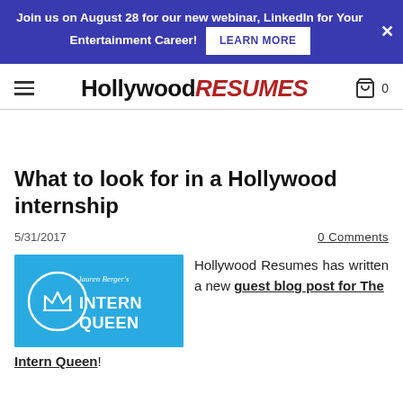Join us on August 28 for our new webinar, LinkedIn for Your Entertainment Career! LEARN MORE
Hollywood RESUMES  0
What to look for in a Hollywood internship
5/31/2017
0 Comments
[Figure (logo): Lauren Berger's Intern Queen logo — blue background with a crown icon and the text INTERNQUEEN]
Hollywood Resumes has written a new guest blog post for The Intern Queen!